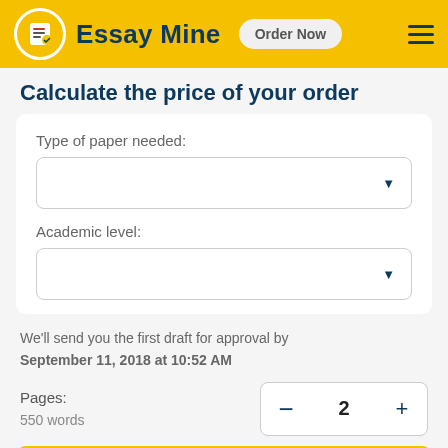Essay Mine  Order Now
Calculate the price of your order
Type of paper needed:
Academic level:
We'll send you the first draft for approval by September 11, 2018 at 10:52 AM
Pages:
550 words
2